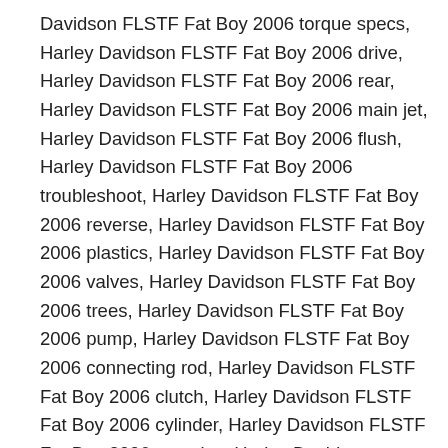Davidson FLSTF Fat Boy 2006 torque specs, Harley Davidson FLSTF Fat Boy 2006 drive, Harley Davidson FLSTF Fat Boy 2006 rear, Harley Davidson FLSTF Fat Boy 2006 main jet, Harley Davidson FLSTF Fat Boy 2006 flush, Harley Davidson FLSTF Fat Boy 2006 troubleshoot, Harley Davidson FLSTF Fat Boy 2006 reverse, Harley Davidson FLSTF Fat Boy 2006 plastics, Harley Davidson FLSTF Fat Boy 2006 valves, Harley Davidson FLSTF Fat Boy 2006 trees, Harley Davidson FLSTF Fat Boy 2006 pump, Harley Davidson FLSTF Fat Boy 2006 connecting rod, Harley Davidson FLSTF Fat Boy 2006 clutch, Harley Davidson FLSTF Fat Boy 2006 cylinder, Harley Davidson FLSTF Fat Boy 2006 oversize, Harley Davidson FLSTF Fat Boy 2006 installation, Harley Davidson FLSTF Fat Boy 2006 mixture screw, Harley Davidson FLSTF Fat Boy 2006 axle, Harley Davidson FLSTF Fat Boy 2006 ski, Harley Davidson